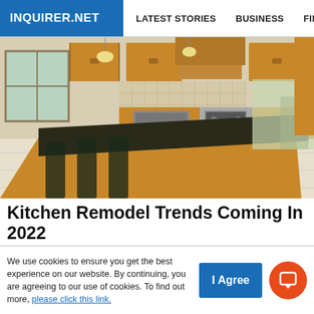INQUIRER.NET   LATEST STORIES   BUSINESS   FINANCE   TECHNOLO
[Figure (photo): Kitchen interior photo showing a kitchen island with dark granite countertop and bar stools, wooden cabinetry, stainless steel appliances, and tile flooring.]
Kitchen Remodel Trends Coming In 2022
Kitchen Remodel | Sponsored
[Figure (photo): Partial view of a second article image, partially cropped, showing a person with gray/blonde hair.]
We use cookies to ensure you get the best experience on our website. By continuing, you are agreeing to our use of cookies. To find out more, please click this link.